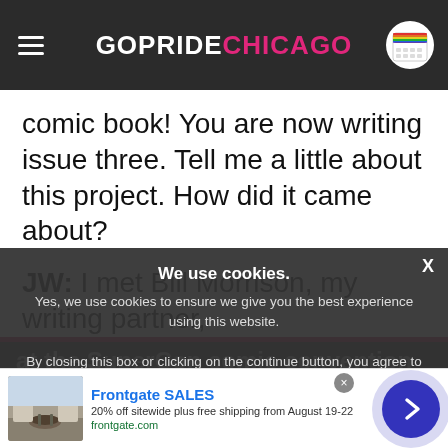GOPRIDE CHICAGO
comic book! You are now writing issue three. Tell me a little about this project. How did it came about?
JW: I met Bill Morrison, my writing partner,
at the SuperCon comic convention in San Jose, ... almost inst... collaborate on ...
We use cookies.
Yes, we use cookies to ensure we give you the best experience using this website.
By closing this box or clicking on the continue button, you agree to our terms of use and consent to the use of
[Figure (screenshot): Advertisement for Frontgate SALES showing outdoor furniture with a fire pit. Text: Frontgate SALES, 20% off sitewide plus free shipping from August 19-22, frontgate.com]